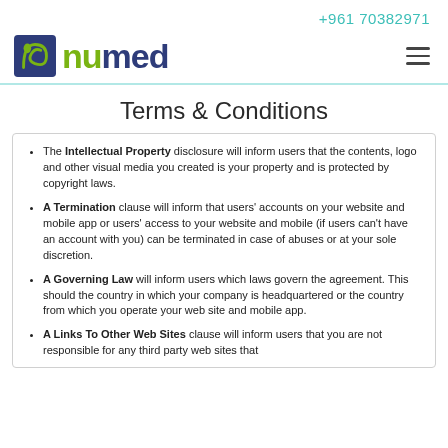+961 70382971
[Figure (logo): NuMed logo with blue/green icon and stylized text]
Terms & Conditions
The Intellectual Property disclosure will inform users that the contents, logo and other visual media you created is your property and is protected by copyright laws.
A Termination clause will inform that users' accounts on your website and mobile app or users' access to your website and mobile (if users can't have an account with you) can be terminated in case of abuses or at your sole discretion.
A Governing Law will inform users which laws govern the agreement. This should the country in which your company is headquartered or the country from which you operate your web site and mobile app.
A Links To Other Web Sites clause will inform users that you are not responsible for any third party web sites that